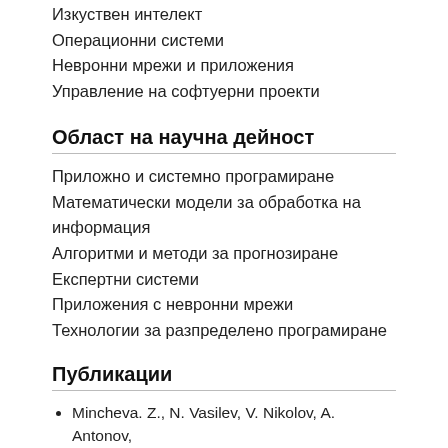Изкуствен интелект
Операционни системи
Невронни мрежи и приложения
Управление на софтуерни проекти
Област на научна дейност
Приложно и системно програмиране
Математически модели за обработка на информация
Алгоритми и методи за прогнозиране
Експертни системи
Приложения с невронни мрежи
Технологии за разпределено програмиране
Публикации
Mincheva. Z., N. Vasilev, V. Nikolov, A. Antonov, Extracting Structured Data from Text in Natural